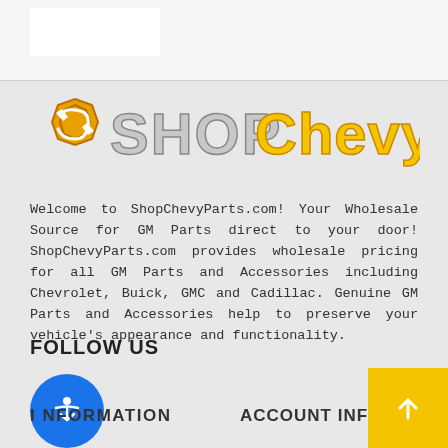[Figure (logo): ShopChevyParts.com logo with yellow/gold text and a wrench icon]
Welcome to ShopChevyParts.com! Your Wholesale Source for GM Parts direct to your door! ShopChevyParts.com provides wholesale pricing for all GM Parts and Accessories including Chevrolet, Buick, GMC and Cadillac. Genuine GM Parts and Accessories help to preserve your vehicle's appearance and functionality.
FOLLOW US
[Figure (infographic): Three social media icon boxes: Facebook (f), Twitter (bird), Pinterest (p)]
INFORMATION   ACCOUNT INFO